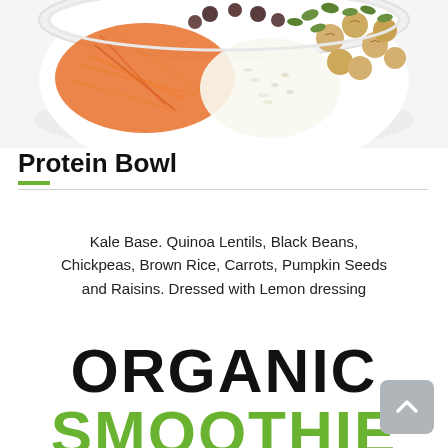[Figure (photo): Top-down view of a protein bowl with shredded carrots, brown rice, chickpeas, pumpkin seeds, raisins, and other ingredients arranged in a white bowl]
Protein Bowl
Kale Base. Quinoa Lentils, Black Beans, Chickpeas, Brown Rice, Carrots, Pumpkin Seeds and Raisins. Dressed with Lemon dressing
ORGANIC SMOOTHIE